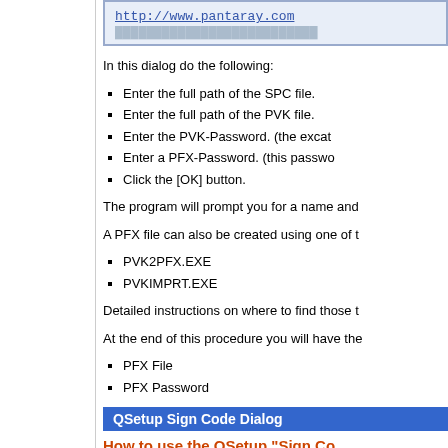[Figure (screenshot): URL box showing http://www.pantaray.com link on blue/grey background]
In this dialog do the following:
Enter the full path of the SPC file.
Enter the full path of the PVK file.
Enter the PVK-Password. (the excat...
Enter a PFX-Password. (this passwo...
Click the [OK] button.
The program will prompt you for a name and...
A PFX file can also be created using one of t...
PVK2PFX.EXE
PVKIMPRT.EXE
Detailed instructions on where to find those t...
At the end of this procedure you will have the...
PFX File
PFX Password
QSetup Sign Code Dialog
How to use the QSetup "Sign Co...
QSetup includes a special "Sign Code" dialo... To open the "Sign Code" dialog, click the [Si...
The following dialog will be displayed: